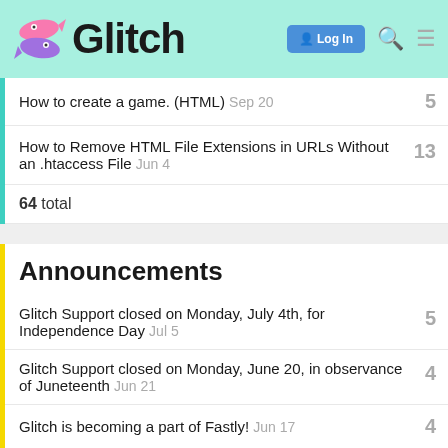Glitch — Log In
How to create a game. (HTML)  Sep 20  5
How to Remove HTML File Extensions in URLs Without an .htaccess File  Jun 4  13
64 total
Announcements
Glitch Support closed on Monday, July 4th, for Independence Day  Jul 5  5
Glitch Support closed on Monday, June 20, in observance of Juneteenth  Jun 21  4
Glitch is becoming a part of Fastly!  Jun 17  4